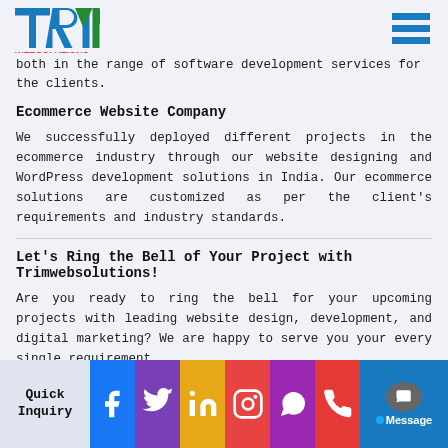TRIM WEBSOLUTIONS [logo] [hamburger menu]
both in the range of software development services for the clients.
Ecommerce Website Company
We successfully deployed different projects in the ecommerce industry through our website designing and WordPress development solutions in India. Our ecommerce solutions are customized as per the client's requirements and industry standards.
Let's Ring the Bell of Your Project with Trimwebsolutions!
Are you ready to ring the bell for your upcoming projects with leading website design, development, and digital marketing? We are happy to serve you your every single requirement.
Quick Inquiry | Facebook | Twitter | LinkedIn | Instagram | WhatsApp | Phone | Message